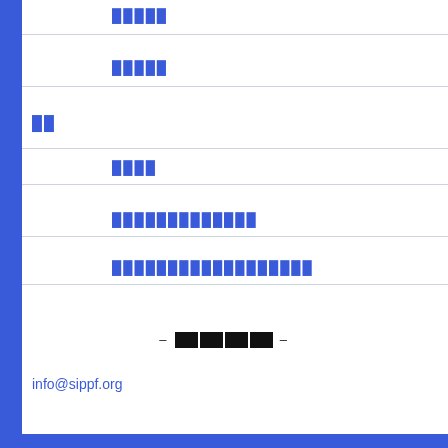█████
█████
██
████
█████████████
██████████████████
– ████ –
info@sippf.org